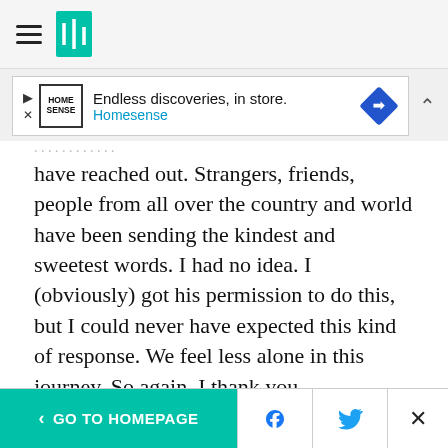[Figure (screenshot): Website navigation bar with hamburger menu icon and HuffPost logo]
[Figure (screenshot): Advertisement banner: Endless discoveries, in store. Homesense]
have reached out. Strangers, friends, people from all over the country and world have been sending the kindest and sweetest words. I had no idea. I (obviously) got his permission to do this, but I could never have expected this kind of response. We feel less alone in this journey. So again, I thank you.

To offer a laugh in a sad time....this is one of my favorite family videos. We mortified our oldest daughter singing Lisa Loeb's "Stay." (She secretly
[Figure (screenshot): Bottom navigation bar with GO TO HOMEPAGE button, Facebook and Twitter share icons, and close button]